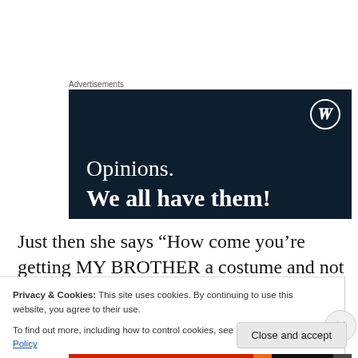Advertisements
[Figure (illustration): Dark navy advertisement banner with WordPress logo (W in circle) in top right. Text reads 'Opinions.' in serif font and 'We all have them!' in bold serif font on dark background.]
Just then she says “How come you’re getting MY BROTHER a costume and not me?”. I snap “Because he
Privacy & Cookies: This site uses cookies. By continuing to use this website, you agree to their use.
To find out more, including how to control cookies, see here: Cookie Policy
Close and accept